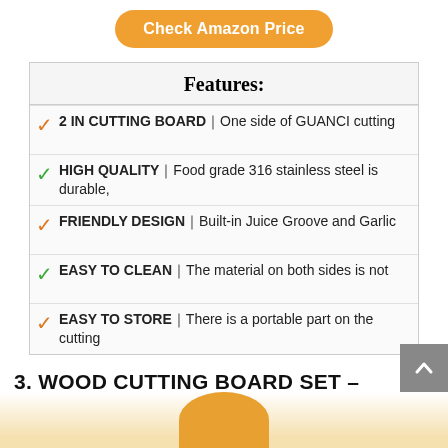[Figure (other): Orange rounded button labeled 'Check Amazon Price']
| Features: |
| --- |
| ✓ 2 IN CUTTING BOARD｜One side of GUANCI cutting |
| ✓ HIGH QUALITY｜Food grade 316 stainless steel is durable, |
| ✓ FRIENDLY DESIGN｜Built-in Juice Groove and Garlic |
| ✓ EASY TO CLEAN｜The material on both sides is not |
| ✓ EASY TO STORE｜There is a portable part on the cutting |
3. WOOD CUTTING BOARD SET – BAMBOO CUTTING BOARD WITH JUICE GROOVE – KITCHEN CHOPPING BOARD FOR MEAT (BUTCHER BLOCK) CHEESE AND VEGETABLES - HEAVY DUTY SERVING TRAY W/HANDLES (4-PIECES)